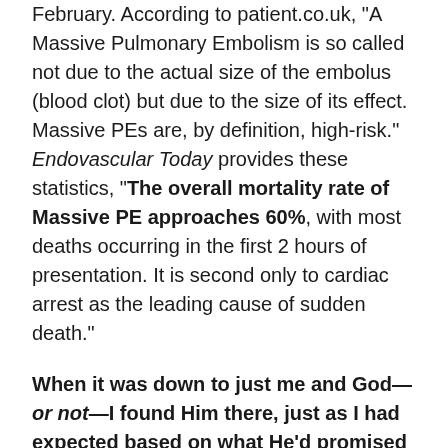February. According to patient.co.uk, "A Massive Pulmonary Embolism is so called not due to the actual size of the embolus (blood clot) but due to the size of its effect. Massive PEs are, by definition, high-risk." Endovascular Today provides these statistics, "The overall mortality rate of Massive PE approaches 60%, with most deaths occurring in the first 2 hours of presentation. It is second only to cardiac arrest as the leading cause of sudden death."
When it was down to just me and God—or not—I found Him there, just as I had expected based on what He'd promised in His inspired Word the Bible. Chalk up one more encounter with the Living God who's the Alpha and Omega, the Beginning and the End, He who was and is and is to come.
So when doubt comes knocking again, remembrance